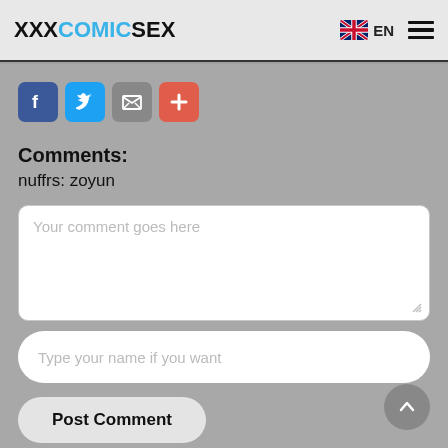XXXCOMICSEX | EN
[Figure (infographic): Social sharing buttons row: Facebook (blue), Twitter (light blue), Email/envelope (grey), Plus (red-orange)]
Comments:
nuffrs: zoyun
Your comment goes here
Type your name if you want
Post Comment